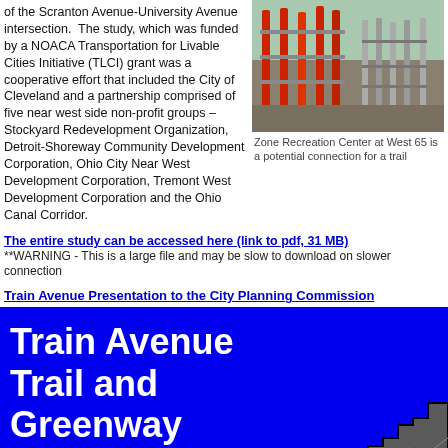of the Scranton Avenue-University Avenue intersection. The study, which was funded by a NOACA Transportation for Livable Cities Initiative (TLCI) grant was a cooperative effort that included the City of Cleveland and a partnership comprised of five near west side non-profit groups – Stockyard Redevelopment Organization, Detroit-Shoreway Community Development Corporation, Ohio City Near West Development Corporation, Tremont West Development Corporation and the Ohio Canal Corridor.
[Figure (photo): Photo of Zone Recreation Center at West 65, showing orange/red vertical elements and fencing, potential trail connection]
Zone Recreation Center at West 65 is a potential connection for a trail
The entire study can be accessed here (link to pdf, 31 MB)
**WARNING - This is a large file and may be slow to download on slower connection
Train Avenue Presentation to the City Planning Commission
[Figure (map): Blue banner with white text reading 'Train Avenue Trail and Greenway' with a map outline shape in the lower right]